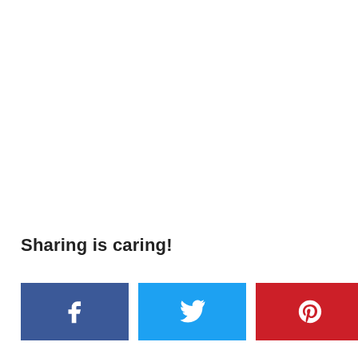Sharing is caring!
[Figure (infographic): Social sharing buttons row: Facebook (dark blue), Twitter (light blue), Pinterest (red), and a share count showing 116 SHARES]